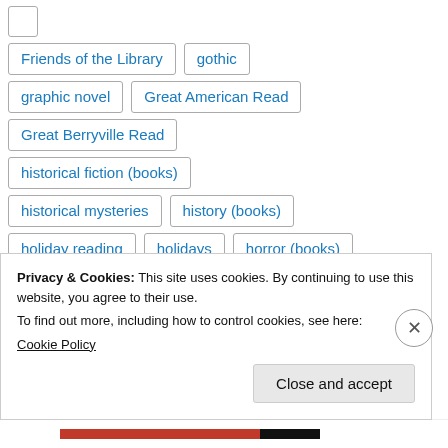Friends of the Library
gothic
graphic novel
Great American Read
Great Berryville Read
historical fiction (books)
historical mysteries
history (books)
holiday reading
holidays
horror (books)
Humor
Jeff Guinn
libraries
Privacy & Cookies: This site uses cookies. By continuing to use this website, you agree to their use.
To find out more, including how to control cookies, see here: Cookie Policy
Close and accept